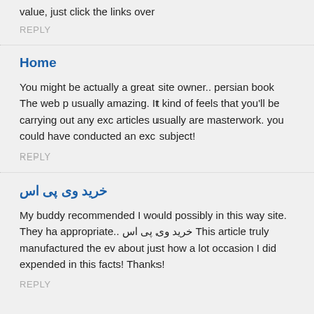value, just click the links over
REPLY
Home
You might be actually a great site owner.. persian book The web p usually amazing. It kind of feels that you'll be carrying out any exc articles usually are masterwork. you could have conducted an exc subject!
REPLY
خرید وی پی اس
My buddy recommended I would possibly in this way site. They ha appropriate.. خرید وی پی اس This article truly manufactured the ev about just how a lot occasion I did expended in this facts! Thanks!
REPLY